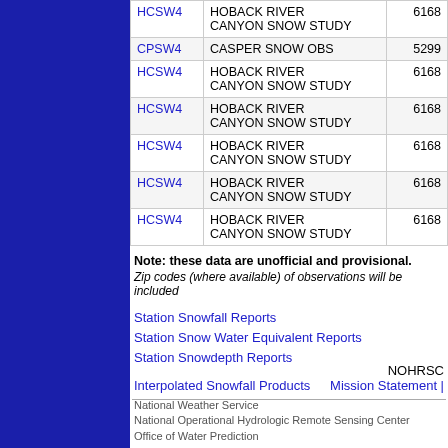| Code | Station Name | Elevation |
| --- | --- | --- |
| HCSW4 | HOBACK RIVER CANYON SNOW STUDY | 6168 |
| CPSW4 | CASPER SNOW OBS | 5299 |
| HCSW4 | HOBACK RIVER CANYON SNOW STUDY | 6168 |
| HCSW4 | HOBACK RIVER CANYON SNOW STUDY | 6168 |
| HCSW4 | HOBACK RIVER CANYON SNOW STUDY | 6168 |
| HCSW4 | HOBACK RIVER CANYON SNOW STUDY | 6168 |
| HCSW4 | HOBACK RIVER CANYON SNOW STUDY | 6168 |
Note: these data are unofficial and provisional. Zip codes (where available) of observations will be included.
Station Snowfall Reports
Station Snow Water Equivalent Reports
Station Snowdepth Reports
Interpolated Snowfall Products
NOHRSC | Mission Statement | National Weather Service | National Operational Hydrologic Remote Sensing Center | Office of Water Prediction